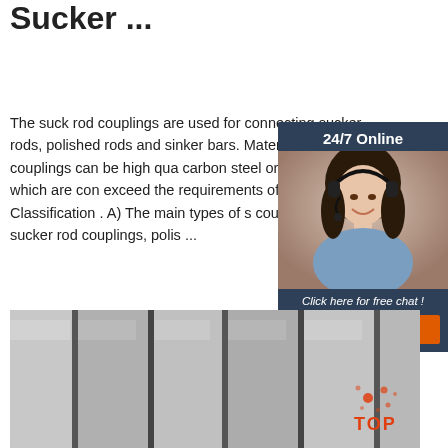Sucker ...
The suck rod couplings are used for connecting sucker rods, polished rods and sinker bars. Material of the couplings can be high quality carbon steel or alloy steel, which are conform to exceed the requirements of API Specific 2. Classification . A) The main types of s couplings are sucker rod couplings, polis ...
[Figure (infographic): 24/7 Online customer support chat widget with photo of woman wearing headset, 'Click here for free chat!' text, and QUOTATION button]
[Figure (photo): Close-up photo of gray steel rods/pipes in parallel arrangement with TOP watermark logo in bottom right corner]